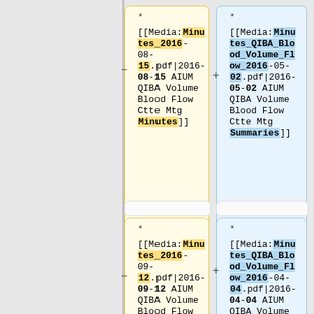* [[Media:Minutes_2016-08-15.pdf|2016-08-15 AIUM QIBA Volume Blood Flow Ctte Mtg Minutes]]
* [[Media:Minutes_QIBA_Blood_Volume_Flow_2016-05-02.pdf|2016-05-02 AIUM QIBA Volume Blood Flow Ctte Mtg Summaries]]
* [[Media:Minutes_2016-09-12.pdf|2016-09-12 AIUM QIBA Volume Blood Flow Ctte Mtg
* [[Media:Minutes_QIBA_Blood_Volume_Flow_2016-04-04.pdf|2016-04-04 AIUM QIBA Volume